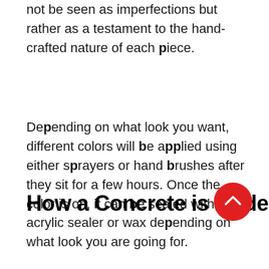not be seen as imperfections but rather as a testament to the hand-crafted nature of each piece.
Depending on what look you want, different colors will be applied using either sprayers or hand brushes after they sit for a few hours. Once the color is on, it can be sealed with an acrylic sealer or wax depending on what look you are going for.
How a Concrete is Made